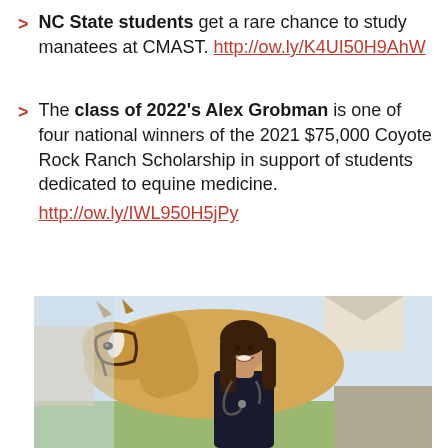NC State students get a rare chance to study manatees at CMAST. http://ow.ly/K4UI50H9AhW
The class of 2022's Alex Grobman is one of four national winners of the 2021 $75,000 Coyote Rock Ranch Scholarship in support of students dedicated to equine medicine. http://ow.ly/IWL950H5jPy
[Figure (photo): A young woman with long brown hair, wearing a dark jacket with a stethoscope, smiling and standing next to a palomino horse with a white blaze. Background shows a building and outdoor area.]